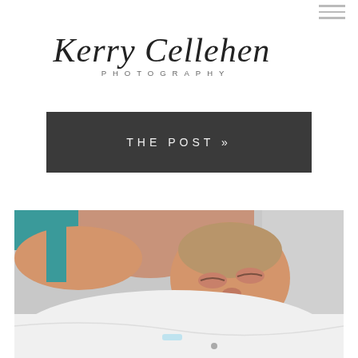Kerry Cellehen Photography
THE POST »
[Figure (photo): A newborn baby sleeping, being held against a person wearing a teal top. The baby is wrapped in white cloth and photographed in a hospital or birth center setting.]